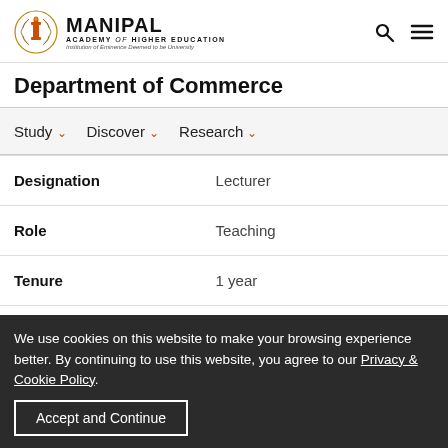Manipal Academy of Higher Education — Department of Commerce
Department of Commerce
Study  Discover  Research
| Field | Value |
| --- | --- |
| Designation | Lecturer |
| Role | Teaching |
| Tenure | 1 year |
We use cookies on this website to make your browsing experience better. By continuing to use this website, you agree to our Privacy & Cookie Policy.
Accept and Continue